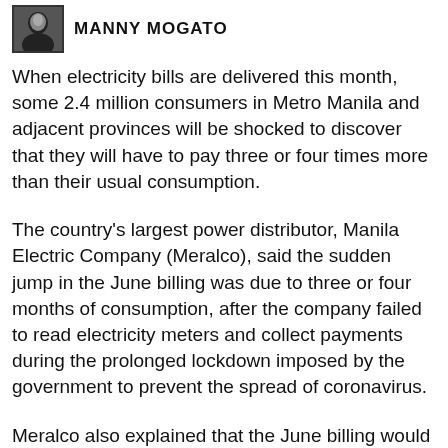[Figure (photo): Black and white author portrait photo with bold name text 'MANNY MOGATO' to the right]
When electricity bills are delivered this month, some 2.4 million consumers in Metro Manila and adjacent provinces will be shocked to discover that they will have to pay three or four times more than their usual consumption.
The country's largest power distributor, Manila Electric Company (Meralco), said the sudden jump in the June billing was due to three or four months of consumption, after the company failed to read electricity meters and collect payments during the prolonged lockdown imposed by the government to prevent the spread of coronavirus.
Meralco also explained that the June billing would reflect consumption based on actual